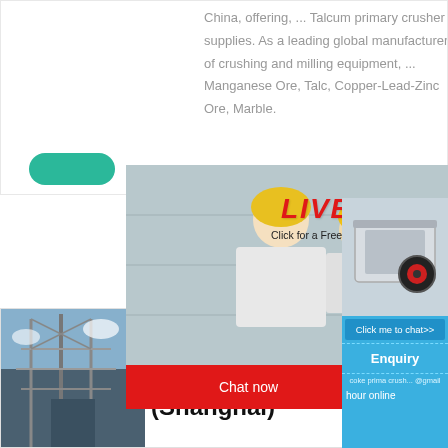China, offering, ... Talcum primary crusher supplies. As a leading global manufacturer of crushing and milling equipment, ... Manganese Ore, Talc, Copper-Lead-Zinc Ore, Marble.
[Figure (photo): Live chat popup with workers in yellow hard hats. Contains LIVE CHAT heading in red italic, subtitle 'Click for a Free Consultation', Chat now and Chat later buttons, and a close button.]
[Figure (photo): Industrial steel structure / plant equipment photo on the left side of the bottom card.]
coke prima crusher co Prominer (Shanghai)
[Figure (photo): Right sidebar showing a crusher machine image, 'Click me to chat>>' button, and 'Enquiry' section with email partial text.]